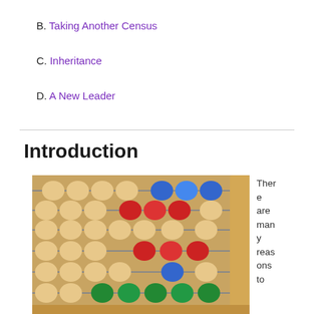B. Taking Another Census
C. Inheritance
D. A New Leader
Introduction
[Figure (photo): Close-up photograph of a colorful abacus with wooden beads in tan/cream, blue, red, and green colors on metal rods with a wooden frame.]
There are many reasons to